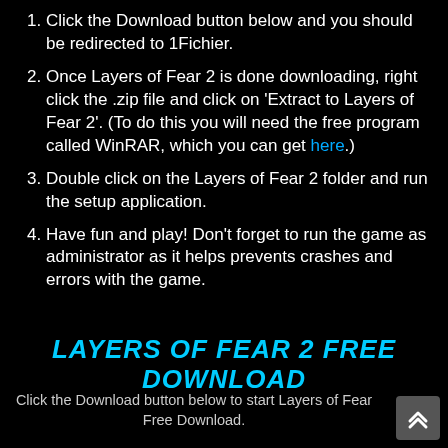Click the Download button below and you should be redirected to 1Fichier.
Once Layers of Fear 2 is done downloading, right click the .zip file and click on 'Extract to Layers of Fear 2'. (To do this you will need the free program called WinRAR, which you can get here.)
Double click on the Layers of Fear 2 folder and run the setup application.
Have fun and play! Don't forget to run the game as administrator as it helps prevents crashes and errors with the game.
LAYERS OF FEAR 2 FREE DOWNLOAD
Click the Download button below to start Layers of Fear Free Download.